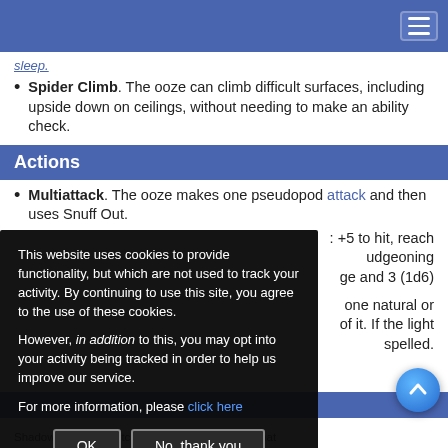Navigation bar with hamburger menu
sleep.
Spider Climb. The ooze can climb difficult surfaces, including upside down on ceilings, without needing to make an ability check.
Actions
Multiattack. The ooze makes one pseudopod attack and then uses Snuff Out.
: +5 to hit, reach ... bludgeoning ... ge and 3 (1d6)
one natural or ... of it. If the light ... spelled.
[Figure (screenshot): Cookie consent overlay with OK and No thank you buttons]
Shadow oozes are pitch-black gelatinous blobs that